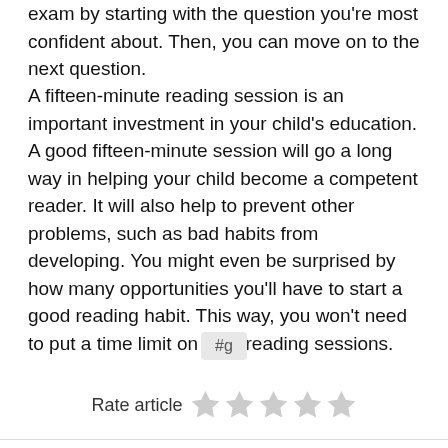exam by starting with the question you're most confident about. Then, you can move on to the next question.
A fifteen-minute reading session is an important investment in your child's education. A good fifteen-minute session will go a long way in helping your child become a competent reader. It will also help to prevent other problems, such as bad habits from developing. You might even be surprised by how many opportunities you'll have to start a good reading habit. This way, you won't need to put a time limit on your reading sessions.
#g
Rate article ☆☆☆☆☆